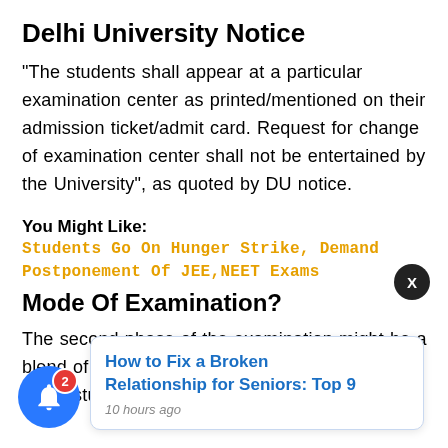Delhi University Notice
"The students shall appear at a particular examination center as printed/mentioned on their admission ticket/admit card. Request for change of examination center shall not be entertained by the University", as quoted by DU notice.
You Might Like: Students Go On Hunger Strike, Demand Postponement Of JEE,NEET Exams
Mode Of Examination?
The second phase of the examination might be a blend of both – online and offline. To stimulate those students [partially obscured] travel to Delhi [partially obscured] University will [partially obscured]
[Figure (other): Notification bell icon with badge showing count 2, blue circular button at bottom left]
[Figure (other): Popup card with link 'How to Fix a Broken Relationship for Seniors: Top 9' and timestamp '10 hours ago', with X close button]
How to Fix a Broken Relationship for Seniors: Top 9 — 10 hours ago